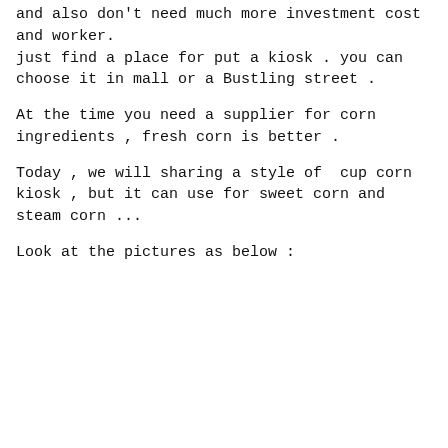and also don't need much more investment cost and worker. just find a place for put a kiosk . you can choose it in mall or a Bustling street .
At the time you need a supplier for corn ingredients , fresh corn is better .
Today , we will sharing a style of cup corn kiosk , but it can use for sweet corn and steam corn ...
Look at the pictures as below :